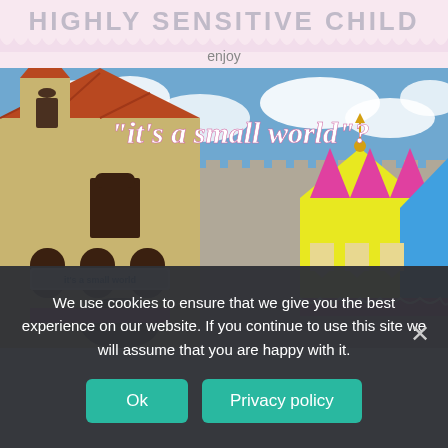HIGHLY SENSITIVE CHILD
enjoy
[Figure (photo): Photograph of the It's a Small World attraction at Disneyland, showing the castle-like facade with red roofs, stone walls, and colorful tents. Text overlay reads: "it's a small world"? in pink italic font.]
We use cookies to ensure that we give you the best experience on our website. If you continue to use this site we will assume that you are happy with it.
Ok   Privacy policy